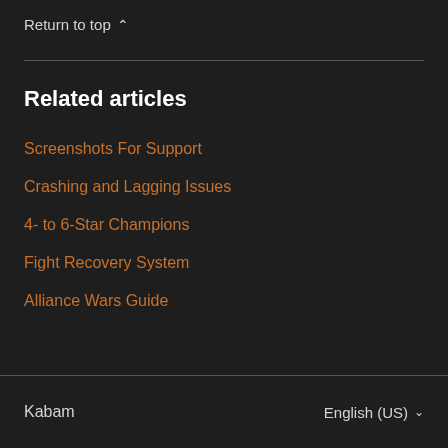Return to top ^
Related articles
Screenshots For Support
Crashing and Lagging Issues
4- to 6-Star Champions
Fight Recovery System
Alliance Wars Guide
Kabam   English (US) ˅